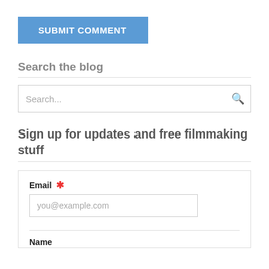SUBMIT COMMENT
Search the blog
Search...
Sign up for updates and free filmmaking stuff
Email
you@example.com
Name